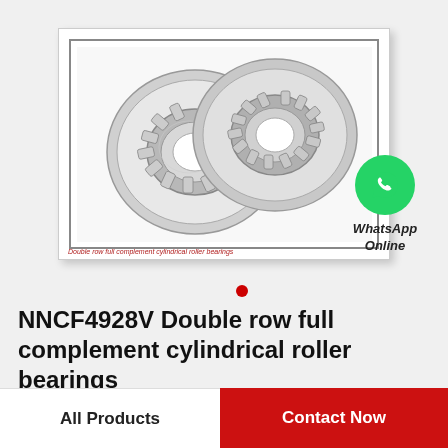[Figure (photo): Two cylindrical roller bearings side by side, shown from front angle, silver/gray metallic color with visible cylindrical rollers]
Double row full complement cylindrical roller bearings
[Figure (logo): WhatsApp green circle icon with phone handset, labeled WhatsApp Online]
WhatsApp Online
NNCF4928V Double row full complement cylindrical roller bearings
All Products
Contact Now